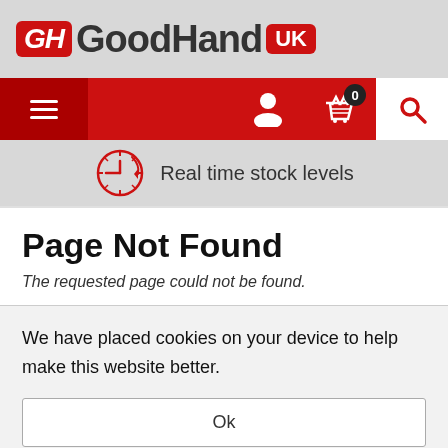[Figure (logo): GoodHand UK logo with red GH badge, bold GoodHand text, and red UK badge]
[Figure (infographic): Red navigation bar with hamburger menu icon on left, person icon, basket icon with badge showing 0, and red search icon on white background on right]
[Figure (infographic): Clock icon in red outline style next to text: Real time stock levels]
Page Not Found
The requested page could not be found.
We have placed cookies on your device to help make this website better.
Ok